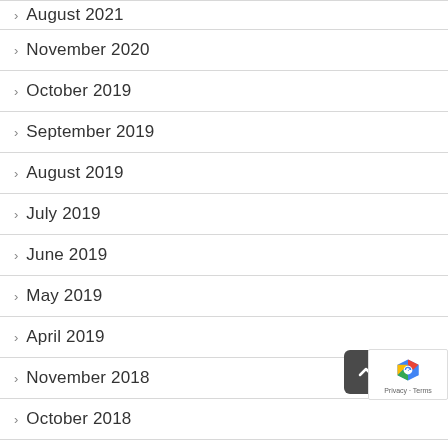August 2021
November 2020
October 2019
September 2019
August 2019
July 2019
June 2019
May 2019
April 2019
November 2018
October 2018
September 2018